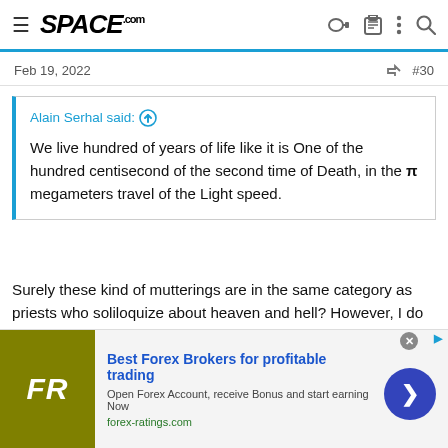SPACE.com
Feb 19, 2022   #30
Alain Serhal said: ↑

We live hundred of years of life like it is One of the hundred centisecond of the second time of Death, in the π megameters travel of the Light speed.
Surely these kind of mutterings are in the same category as priests who soliloquize about heaven and hell? However, I do believe that a large part of what you say is true. Light is born out of light it travels through light and then returns into light. This is the same way in which a wave travels in water or sound travels in air. The medium
[Figure (other): Advertisement for Forex Ratings — Best Forex Brokers for profitable trading. Logo shows FR initials on olive/yellow background. forex-ratings.com]